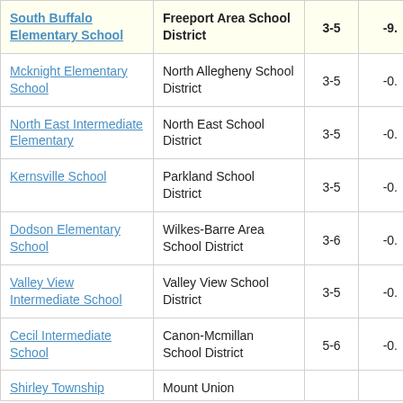| School | District | Grades | Score |
| --- | --- | --- | --- |
| South Buffalo Elementary School | Freeport Area School District | 3-5 | -9. |
| Mcknight Elementary School | North Allegheny School District | 3-5 | -0. |
| North East Intermediate Elementary | North East School District | 3-5 | -0. |
| Kernsville School | Parkland School District | 3-5 | -0. |
| Dodson Elementary School | Wilkes-Barre Area School District | 3-6 | -0. |
| Valley View Intermediate School | Valley View School District | 3-5 | -0. |
| Cecil Intermediate School | Canon-Mcmillan School District | 5-6 | -0. |
| Shirley Township | Mount Union |  |  |